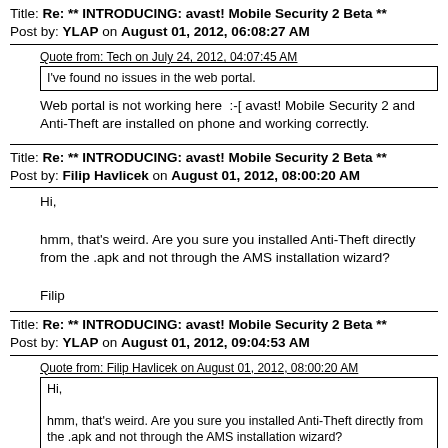Title: Re: ** INTRODUCING: avast! Mobile Security 2 Beta ** Post by: YLAP on August 01, 2012, 06:08:27 AM
Quote from: Tech on July 24, 2012, 04:07:45 AM
I've found no issues in the web portal.
Web portal is not working here  :-[ avast! Mobile Security 2 and Anti-Theft are installed on phone and working correctly.
Title: Re: ** INTRODUCING: avast! Mobile Security 2 Beta ** Post by: Filip Havlicek on August 01, 2012, 08:00:20 AM
Hi,

hmm, that's weird. Are you sure you installed Anti-Theft directly from the .apk and not through the AMS installation wizard?

Filip
Title: Re: ** INTRODUCING: avast! Mobile Security 2 Beta ** Post by: YLAP on August 01, 2012, 09:04:53 AM
Quote from: Filip Havlicek on August 01, 2012, 08:00:20 AM
Hi,

hmm, that's weird. Are you sure you installed Anti-Theft directly from the .apk and not through the AMS installation wizard?

Filip